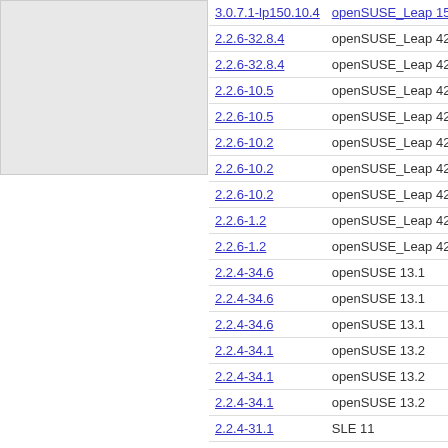[Figure (other): Gray panel / left sidebar area]
| Version | Distribution |
| --- | --- |
| 3.0.7.1-lp150.10.4 | openSUSE_Leap 15. |
| 2.2.6-32.8.4 | openSUSE_Leap 42. |
| 2.2.6-32.8.4 | openSUSE_Leap 42. |
| 2.2.6-10.5 | openSUSE_Leap 42. |
| 2.2.6-10.5 | openSUSE_Leap 42. |
| 2.2.6-10.2 | openSUSE_Leap 42. |
| 2.2.6-10.2 | openSUSE_Leap 42. |
| 2.2.6-10.2 | openSUSE_Leap 42. |
| 2.2.6-1.2 | openSUSE_Leap 42. |
| 2.2.6-1.2 | openSUSE_Leap 42. |
| 2.2.4-34.6 | openSUSE 13.1 |
| 2.2.4-34.6 | openSUSE 13.1 |
| 2.2.4-34.6 | openSUSE 13.1 |
| 2.2.4-34.1 | openSUSE 13.2 |
| 2.2.4-34.1 | openSUSE 13.2 |
| 2.2.4-34.1 | openSUSE 13.2 |
| 2.2.4-31.1 | SLE 11 |
| 2.2.4-31.1 | SLE 11 |
| 2.2.2-3.2 | openSUSE 11.4 |
| 2.2.2-3.2 | openSUSE 11.4 |
| 2.2.2-3.2 | openSUSE 11.4 |
| 2.1.5-239.2 | openSUSE 12.3 |
| 2.1.5-239.2 | openSUSE 12.3 |
| 2.1.5-239.2 | openSUSE 12.3 |
| 2.1.5-229.2 | openSUSE 12.2 |
| 2.1.5-229.2 | openSUSE 12.2 |